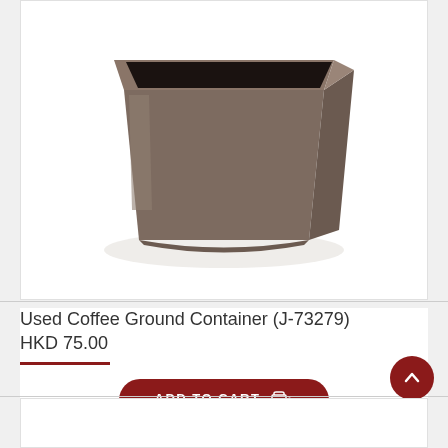[Figure (photo): A brown/taupe square used coffee ground container (knock box) with rounded corners, viewed from a three-quarter angle showing its open top with dark interior. Product code J-73279.]
Used Coffee Ground Container (J-73279)
HKD 75.00
ADD TO CART
Add to Wish List